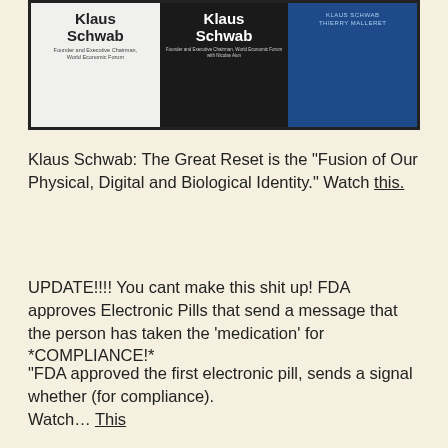[Figure (photo): Three Klaus Schwab books displayed side by side. Left book: white cover with 'Klaus Schwab, Founder and Executive Chairman, World Economic Forum'. Middle book: dark/black cover with 'Klaus Schwab' in white. Right book: blue cover with 'KLAUS SCHWAB THIERRY MALLERET'.]
Klaus Schwab: The Great Reset is the “Fusion of Our Physical, Digital and Biological Identity.” Watch this.
UPDATE!!!! You cant make this shit up! FDA approves Electronic Pills that send a message that the person has taken the ‘medication’ for *COMPLIANCE!*
“FDA approved the first electronic pill, sends a signal whether (for compliance).
Watch… This
More from Tim… THE TRUTH IS IN RETREAT.